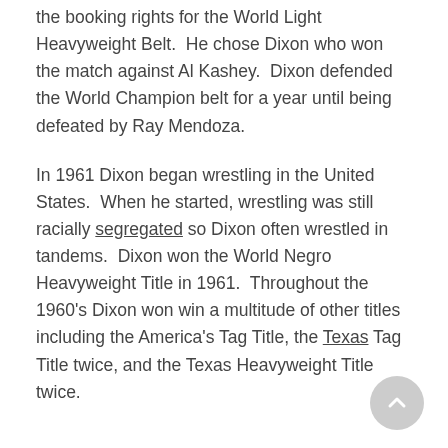the booking rights for the World Light Heavyweight Belt. He chose Dixon who won the match against Al Kashey. Dixon defended the World Champion belt for a year until being defeated by Ray Mendoza.
In 1961 Dixon began wrestling in the United States. When he started, wrestling was still racially segregated so Dixon often wrestled in tandems. Dixon won the World Negro Heavyweight Title in 1961. Throughout the 1960's Dixon won win a multitude of other titles including the America's Tag Title, the Texas Tag Title twice, and the Texas Heavyweight Title twice.